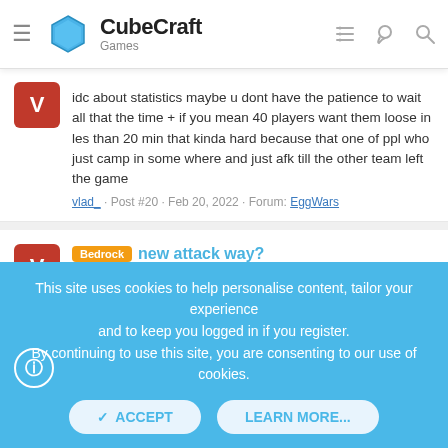CubeCraft Games
idc about statistics maybe u dont have the patience to wait all that the time + if you mean 40 players want them loose in les than 20 min that kinda hard because that one of ppl who just camp in some where and just afk till the other team left the game
vlad_ · Post #20 · Feb 20, 2022 · Forum: EggWars
Bedrock new attack way?
i mean if you one of these ppl who can even wait till the end of game it must be like that cause most of games i played and its done 20-40min at usually
vlad_ · Post #19 · Feb 20, 2022 · Forum: EggWars
Hello! It's me the Amazing Gloop!
This site uses cookies to help personalise content, tailor your experience and to keep you logged in if you register. By continuing to use this site, you are consenting to our use of cookies.